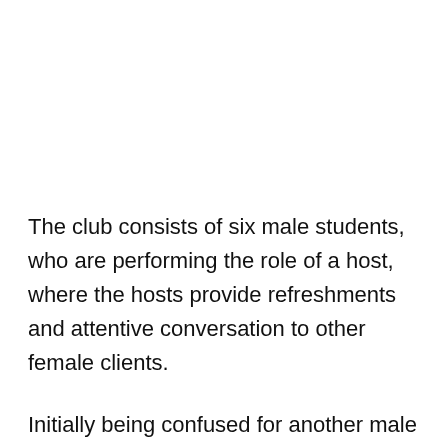The club consists of six male students, who are performing the role of a host, where the hosts provide refreshments and attentive conversation to other female clients.
Initially being confused for another male student, her natural abilities at entertaining means she stays around and becomes a full-Host